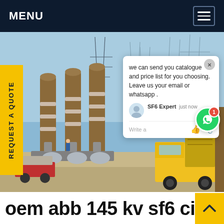MENU
[Figure (photo): Outdoor high-voltage electrical substation with large SF6 circuit breakers, transmission towers, and a yellow service truck in the foreground. Blue sky background. A chat popup overlay is present showing a message from SF6 Expert.]
REQUEST A QUOTE
we can send you catalogue and price list for you choosing.
Leave us your email or whatsapp .
SF6 Expert   just now
Write a
oem abb 145 kv sf6 circ